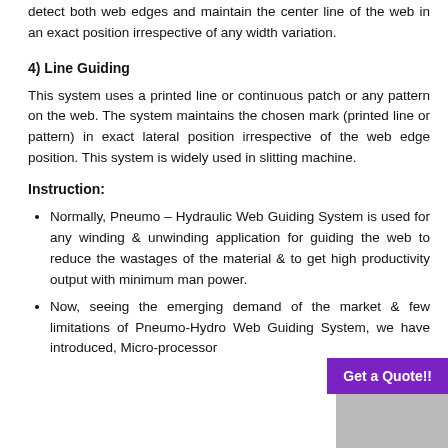detect both web edges and maintain the center line of the web in an exact position irrespective of any width variation.
4) Line Guiding
This system uses a printed line or continuous patch or any pattern on the web. The system maintains the chosen mark (printed line or pattern) in exact lateral position irrespective of the web edge position. This system is widely used in slitting machine.
Instruction:
Normally, Pneumo – Hydraulic Web Guiding System is used for any winding & unwinding application for guiding the web to reduce the wastages of the material & to get high productivity output with minimum man power.
Now, seeing the emerging demand of the market & few limitations of Pneumo-Hydro Web Guiding System, we have introduced, Micro-processor